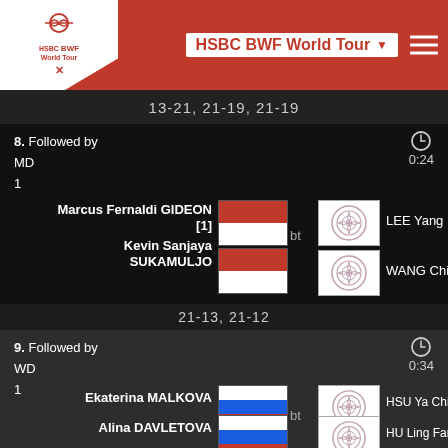HSBC BWF World Tour
13-21, 21-19, 21-19
8. Followed by
MD
1
0:24
Marcus Fernaldi GIDEON [1] bt LEE Yang
Kevin Sanjaya SUKAMULJO bt WANG Chi-Lin
21-13, 21-12
9. Followed by
WD
1
0:34
Ekaterina MALKOVA bt HSU Ya Ching
Alina DAVLETOVA bt HU Ling Fang